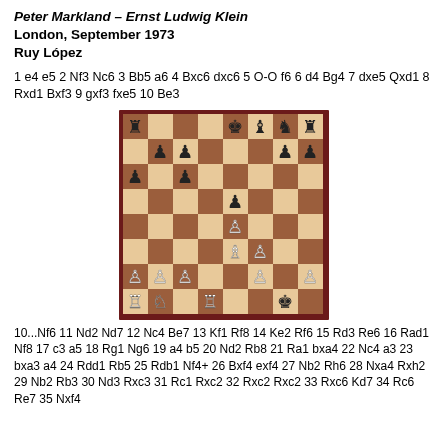Peter Markland – Ernst Ludwig Klein
London, September 1973
Ruy López
1 e4 e5 2 Nf3 Nc6 3 Bb5 a6 4 Bxc6 dxc6 5 O-O f6 6 d4 Bg4 7 dxe5 Qxd1 8 Rxd1 Bxf3 9 gxf3 fxe5 10 Be3
[Figure (other): Chess board diagram showing a mid-game position from the Markland vs Klein game, London 1973]
10...Nf6 11 Nd2 Nd7 12 Nc4 Be7 13 Kf1 Rf8 14 Ke2 Rf6 15 Rd3 Re6 16 Rad1 Nf8 17 c3 a5 18 Rg1 Ng6 19 a4 b5 20 Nd2 Rb8 21 Ra1 bxa4 22 Nc4 a3 23 bxa3 a4 24 Rdd1 Rb5 25 Rdb1 Nf4+ 26 Bxf4 exf4 27 Nb2 Rh6 28 Nxa4 Rxh2 29 Nb2 Rb3 30 Nd3 Rxc3 31 Rc1 Rxc2 32 Rxc2 Rxc2 33 Rxc6 Kd7 34 Rc6 Re7 35 Nxf4